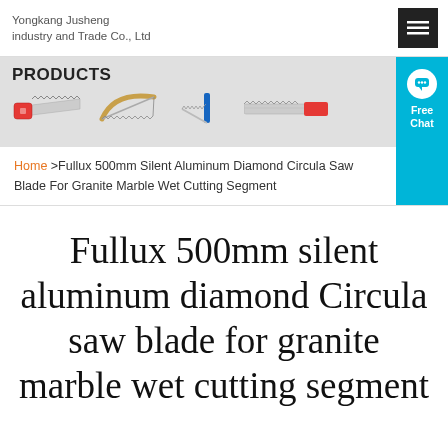Yongkang Jusheng industry and Trade Co., Ltd
[Figure (screenshot): Products banner with four tool/saw images and PRODUCTS label]
Home >Fullux 500mm Silent Aluminum Diamond Circula Saw Blade For Granite Marble Wet Cutting Segment
Fullux 500mm silent aluminum diamond Circula saw blade for granite marble wet cutting segment